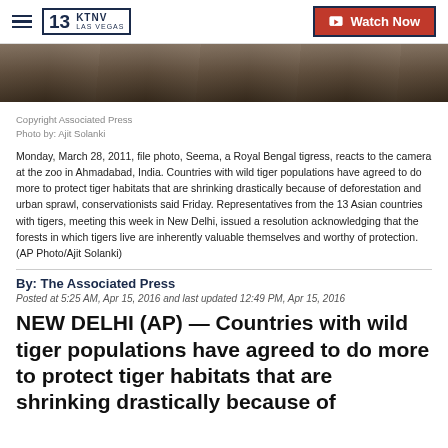KTNV LAS VEGAS | Watch Now
[Figure (photo): Partial view of a Royal Bengal tigress, close-up, dark background]
Copyright Associated Press
Photo by: Ajit Solanki
Monday, March 28, 2011, file photo, Seema, a Royal Bengal tigress, reacts to the camera at the zoo in Ahmadabad, India. Countries with wild tiger populations have agreed to do more to protect tiger habitats that are shrinking drastically because of deforestation and urban sprawl, conservationists said Friday. Representatives from the 13 Asian countries with tigers, meeting this week in New Delhi, issued a resolution acknowledging that the forests in which tigers live are inherently valuable themselves and worthy of protection.(AP Photo/Ajit Solanki)
By: The Associated Press
Posted at 5:25 AM, Apr 15, 2016 and last updated 12:49 PM, Apr 15, 2016
NEW DELHI (AP) — Countries with wild tiger populations have agreed to do more to protect tiger habitats that are shrinking drastically because of